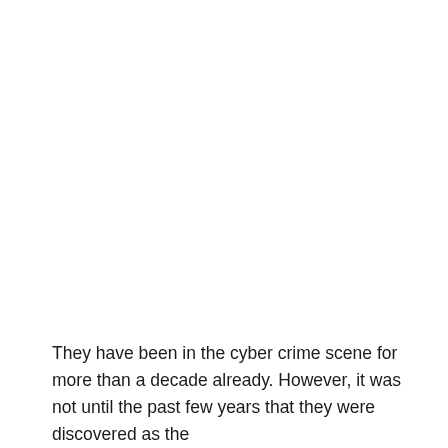They have been in the cyber crime scene for more than a decade already. However, it was not until the past few years that they were discovered as the